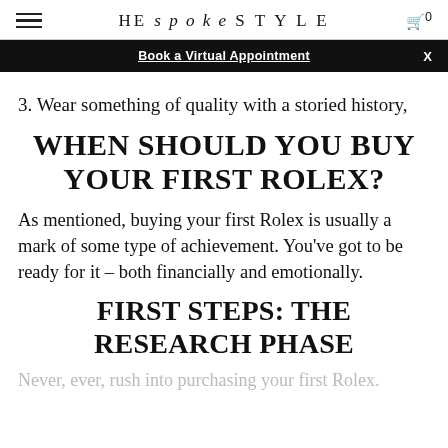HE spoke STYLE  🛒 0
Book a Virtual Appointment  X
3. Wear something of quality with a storied history,
WHEN SHOULD YOU BUY YOUR FIRST ROLEX?
As mentioned, buying your first Rolex is usually a mark of some type of achievement. You've got to be ready for it – both financially and emotionally.
FIRST STEPS: THE RESEARCH PHASE
Never, ever, rush into purchasing your first Rolex.